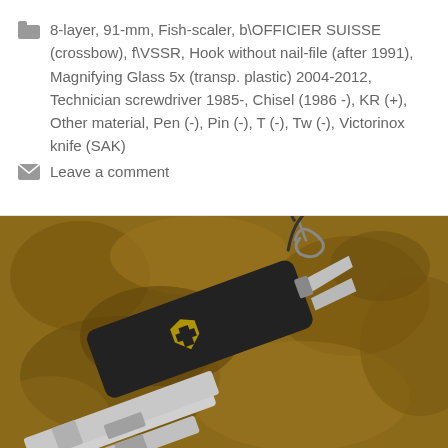8-layer, 91-mm, Fish-scaler, b\OFFICIER SUISSE (crossbow), f\VSSR, Hook without nail-file (after 1991), Magnifying Glass 5x (transp. plastic) 2004-2012, Technician screwdriver 1985-, Chisel (1986 -), KR (+), Other material, Pen (-), Pin (-), T (-), Tw (-), Victorinox knife (SAK)
Leave a comment
[Figure (photo): A black Victorinox Swiss Army Knife (SAK) with multiple tools extended including corkscrew, small blade, and bottle opener/can opener, photographed on a rusty/stone textured surface. The knife has a crossbow/shield logo in gold on the black handle and a black cord/lanyard attached.]